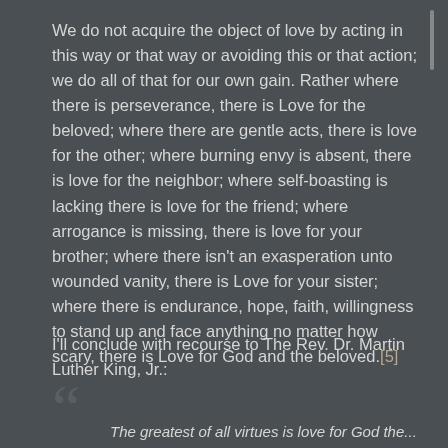We do not acquire the object of love by acting in this way or that way or avoiding this or that action; we do all of that for our own gain. Rather where there is perseverance, there is Love for the beloved; where there are gentle acts, there is love for the other; where burning envy is absent, there is love for the neighbor; where self-boasting is lacking there is love for the friend; where arrogance is missing, there is love for your brother; where there isn't an exasperation unto wounded vanity, there is Love for your sister; where there is endurance, hope, faith, willingness to stand up and face anything no matter how scary, there is Love for God and the beloved.[5]
I'll conclude with recourse to The Rev. Dr. Martin Luther King, Jr.:
The greatest of all virtues is love for God the...